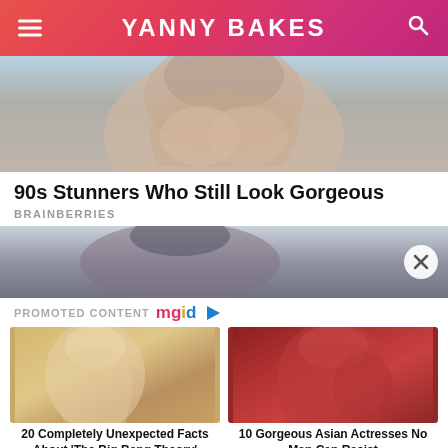YANNY BAKES
[Figure (photo): Cropped photo of a smiling woman with curly gray-brown hair against a blue background]
90s Stunners Who Still Look Gorgeous
BRAINBERRIES
[Figure (photo): Second promotional image showing a person with dark hair from behind, with a close-button overlay]
PROMOTED CONTENT mgid
[Figure (photo): Photo of blonde woman (Penny from Big Bang Theory) looking surprised]
20 Completely Unexpected Facts About 'The Big Bang Theory'
[Figure (photo): Photo of a beautiful Asian woman with red hair and green eyes]
10 Gorgeous Asian Actresses No Man Can Resist